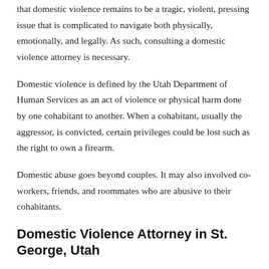that domestic violence remains to be a tragic, violent, pressing issue that is complicated to navigate both physically, emotionally, and legally. As such, consulting a domestic violence attorney is necessary.
Domestic violence is defined by the Utah Department of Human Services as an act of violence or physical harm done by one cohabitant to another. When a cohabitant, usually the aggressor, is convicted, certain privileges could be lost such as the right to own a firearm.
Domestic abuse goes beyond couples. It may also involved co-workers, friends, and roommates who are abusive to their cohabitants.
Domestic Violence Attorney in St. George, Utah